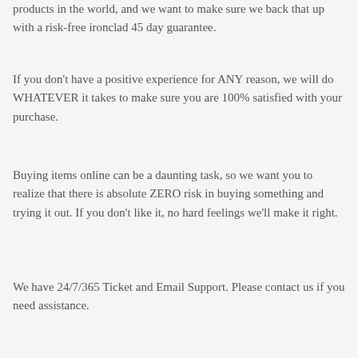products in the world, and we want to make sure we back that up with a risk-free ironclad 45 day guarantee.
If you don't have a positive experience for ANY reason, we will do WHATEVER it takes to make sure you are 100% satisfied with your purchase.
Buying items online can be a daunting task, so we want you to realize that there is absolute ZERO risk in buying something and trying it out. If you don't like it, no hard feelings we'll make it right.
We have 24/7/365 Ticket and Email Support. Please contact us if you need assistance.